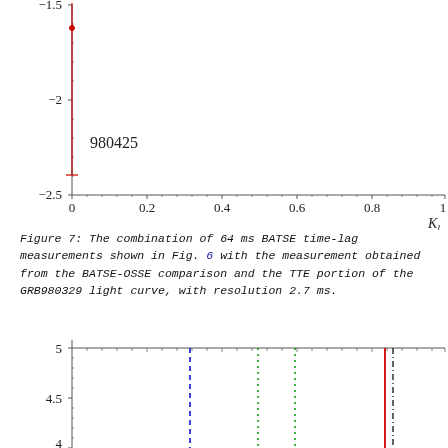[Figure (continuous-plot): Partial scatter/error-bar plot showing y-axis from -1.5 to -2.5 and x-axis (K_l) from 0 to 1. A single red data point with error bar is plotted near x=0, y≈-1.35, with a long red vertical error bar extending down to about y≈-2.2. The label '980425' appears near the data point.]
Figure 7: The combination of 64 ms BATSE time-lag measurements shown in Fig. 6 with the measurement obtained from the BATSE-OSSE comparison and the TTE portion of the GRB980329 light curve, with resolution 2.7 ms.
[Figure (continuous-plot): Partial plot showing y-axis from 4 to 5 with tick marks, and vertical lines: a dashed blue line, two dotted green lines, a solid red line, and a dash-dot black line. The x-axis is partially visible.]